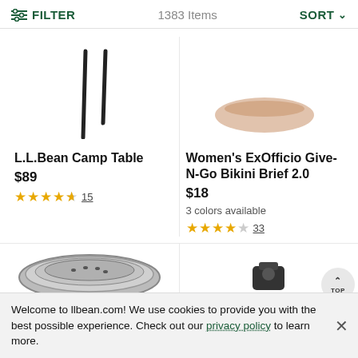FILTER   1383 Items   SORT
[Figure (photo): Partial image of L.L.Bean Camp Table showing table legs]
[Figure (photo): Partial image of Women's ExOfficio Give-N-Go Bikini Brief product in beige color]
L.L.Bean Camp Table
$89
★★★★½ 15
Women's ExOfficio Give-N-Go Bikini Brief 2.0
$18
3 colors available
★★★★☆ 33
[Figure (photo): Partial image of a stainless steel camping stove or cookware]
[Figure (photo): Partial image of a black outdoor product with TOP scroll button]
Welcome to llbean.com! We use cookies to provide you with the best possible experience. Check out our privacy policy to learn more.